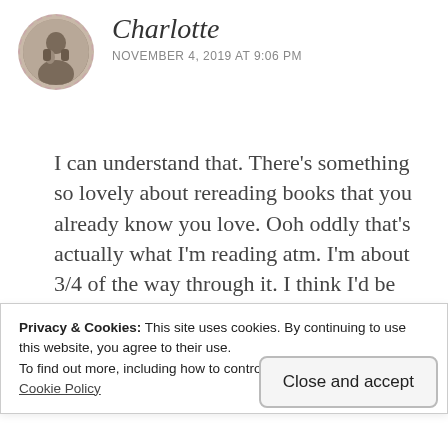[Figure (photo): Circular avatar photo of Charlotte with dashed border]
Charlotte
NOVEMBER 4, 2019 AT 9:06 PM
I can understand that. There’s something so lovely about rereading books that you already know you love. Ooh oddly that’s actually what I’m reading atm. I’m about 3/4 of the way through it. I think I’d be finished by now but I had a couple of days where i had a bad headache and couldn’t read
Privacy & Cookies: This site uses cookies. By continuing to use this website, you agree to their use.
To find out more, including how to control cookies, see here:
Cookie Policy
Close and accept